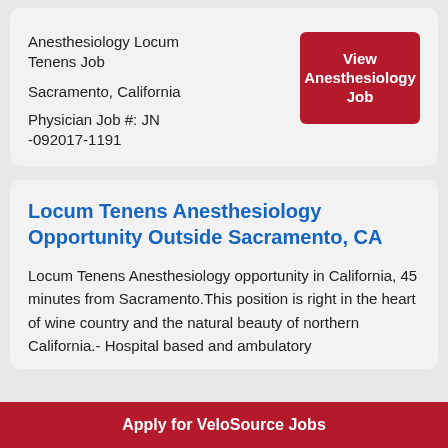Anesthesiology Locum Tenens Job
Sacramento, California
Physician Job #: JN -092017-1191
View Anesthesiology Job
Locum Tenens Anesthesiology Opportunity Outside Sacramento, CA
Locum Tenens Anesthesiology opportunity in California, 45 minutes from Sacramento.This position is right in the heart of wine country and the natural beauty of northern California.- Hospital based and ambulatory
Apply for VeloSource Jobs